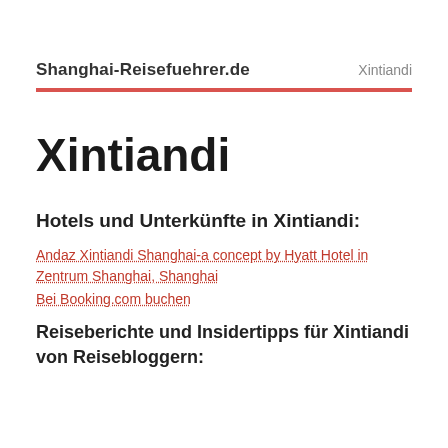Shanghai-Reisefuehrer.de    Xintiandi
Xintiandi
Hotels und Unterkünfte in Xintiandi:
Andaz Xintiandi Shanghai-a concept by Hyatt Hotel in Zentrum Shanghai, Shanghai
Bei Booking.com buchen
Reiseberichte und Insidertipps für Xintiandi von Reisebloggern: